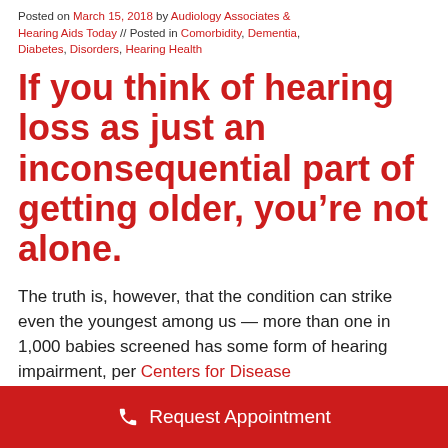Posted on March 15, 2018 by Audiology Associates & Hearing Aids Today // Posted in Comorbidity, Dementia, Diabetes, Disorders, Hearing Health
If you think of hearing loss as just an inconsequential part of getting older, you’re not alone.
The truth is, however, that the condition can strike even the youngest among us — more than one in 1,000 babies screened has some form of hearing impairment, per Centers for Disease
Request Appointment